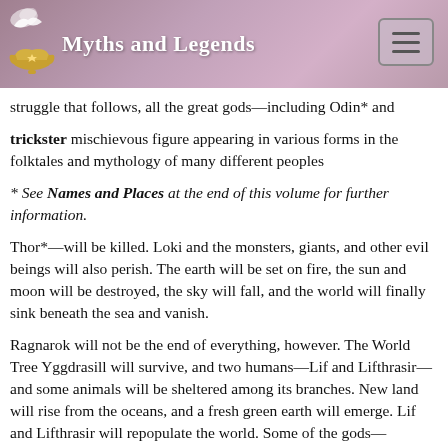Myths and Legends
struggle that follows, all the great gods—including Odin* and
trickster mischievous figure appearing in various forms in the folktales and mythology of many different peoples
* See Names and Places at the end of this volume for further information.
Thor*—will be killed. Loki and the monsters, giants, and other evil beings will also perish. The earth will be set on fire, the sun and moon will be destroyed, the sky will fall, and the world will finally sink beneath the sea and vanish.
Ragnarok will not be the end of everything, however. The World Tree Yggdrasill will survive, and two humans—Lif and Lifthrasir—and some animals will be sheltered among its branches. New land will rise from the oceans, and a fresh green earth will emerge. Lif and Lifthrasir will repopulate the world. Some of the gods—including Balder*—will also return and rebuild Asgard, ushering in a new golden age. Giants and